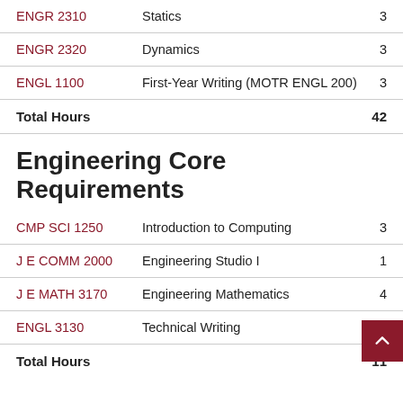| Course | Name | Hours |
| --- | --- | --- |
| ENGR 2310 | Statics | 3 |
| ENGR 2320 | Dynamics | 3 |
| ENGL 1100 | First-Year Writing (MOTR ENGL 200) | 3 |
Total Hours 42
Engineering Core Requirements
| Course | Name | Hours |
| --- | --- | --- |
| CMP SCI 1250 | Introduction to Computing | 3 |
| J E COMM 2000 | Engineering Studio I | 1 |
| J E MATH 3170 | Engineering Mathematics | 4 |
| ENGL 3130 | Technical Writing |  |
Total Hours 11